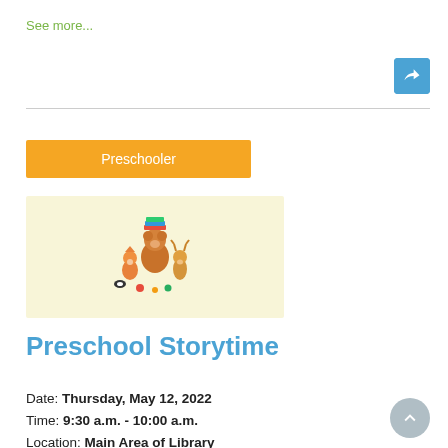See more...
[Figure (other): Blue share/forward button with arrow icon]
[Figure (illustration): Cartoon forest animals (fox, deer, bear, skunk, owl with books) on a light yellow background]
Preschooler
Preschool Storytime
Date: Thursday, May 12, 2022
Time: 9:30 a.m. - 10:00 a.m.
Location: Main Area of Library